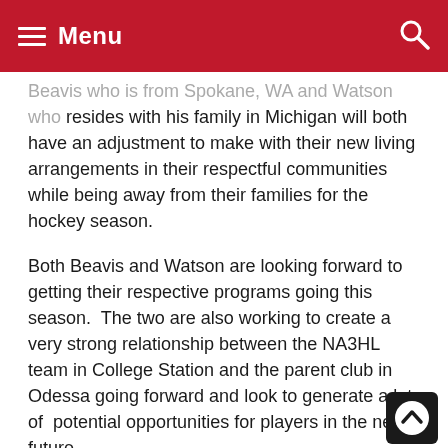≡ Menu
Beavis who is from Spokane, WA and Watson who resides with his family in Michigan will both have an adjustment to make with their new living arrangements in their respectful communities while being away from their families for the hockey season.
Both Beavis and Watson are looking forward to getting their respective programs going this season. The two are also working to create a very strong relationship between the NA3HL team in College Station and the parent club in Odessa going forward and look to generate a lot of potential opportunities for players in the near future.
The team is still looking for interested Billet (Host) families for this season and interested parties should reach out to head coach Mike Beavis at: